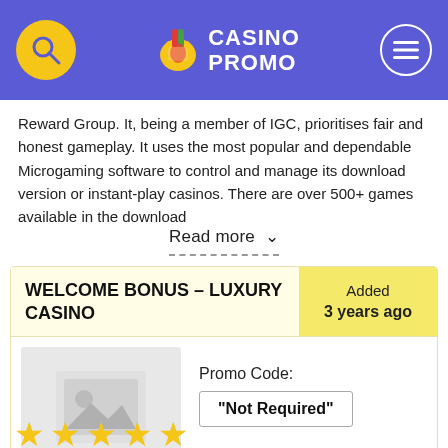CASINO PROMO
Reward Group. It, being a member of IGC, prioritises fair and honest gameplay. It uses the most popular and dependable Microgaming software to control and manage its download version or instant-play casinos. There are over 500+ games available in the download
Read more ∨
WELCOME BONUS – LUXURY CASINO
Added 3 years ago
[Figure (photo): Placeholder image for casino bonus]
Promo Code: "Not Required"
★★★★★